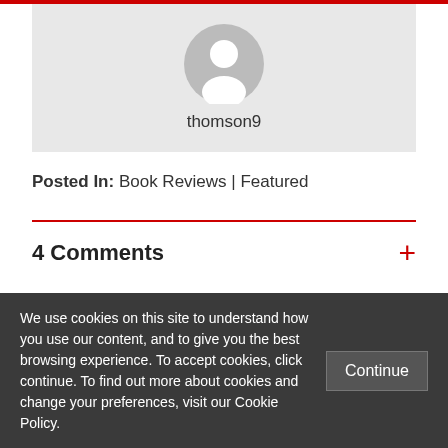[Figure (photo): User avatar placeholder (grey circle with white silhouette) and username 'thomson9' displayed in a light grey profile card]
Posted In: Book Reviews | Featured
4 Comments
We use cookies on this site to understand how you use our content, and to give you the best browsing experience. To accept cookies, click continue. To find out more about cookies and change your preferences, visit our Cookie Policy.